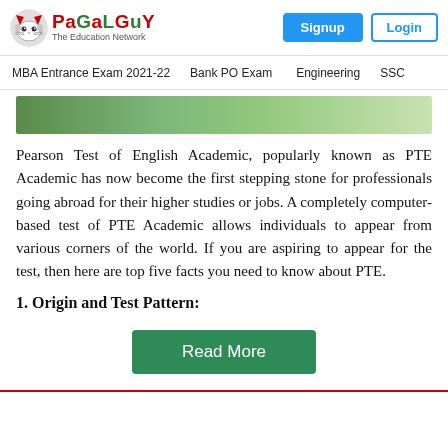PaGaLGuY - The Education Network | Signup | Login
MBA Entrance Exam 2021-22 | Bank PO Exam | Engineering | SSC
[Figure (photo): Green grassy background image strip]
Pearson Test of English Academic, popularly known as PTE Academic has now become the first stepping stone for professionals going abroad for their higher studies or jobs. A completely computer-based test of PTE Academic allows individuals to appear from various corners of the world. If you are aspiring to appear for the test, then here are top five facts you need to know about PTE.
1. Origin and Test Pattern:
Read More